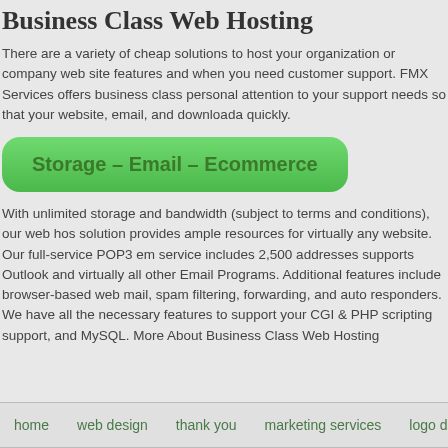Business Class Web Hosting
There are a variety of cheap solutions to host your organization or company web site features and when you need customer support. FMX Services offers business class personal attention to your support needs so that your website, email, and downloada quickly.
Storage – Email – Ecommerce
With unlimited storage and bandwidth (subject to terms and conditions), our web hos solution provides ample resources for virtually any website. Our full-service POP3 em service includes 2,500 addresses supports Outlook and virtually all other Email Programs. Additional features include browser-based web mail, spam filtering, forwarding, and auto responders. We have all the necessary features to support your CGI & PHP scripting support, and MySQL. More About Business Class Web Hosting
home   web design   thank you   marketing services   logo desig